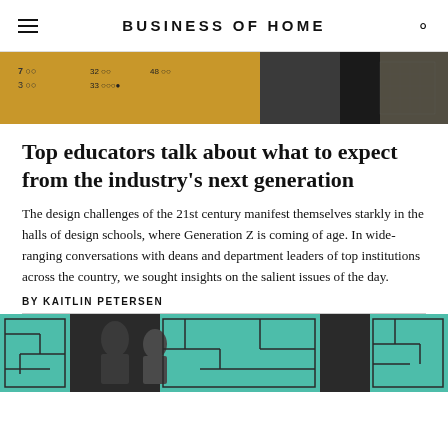BUSINESS OF HOME
[Figure (photo): Top portion of article image showing numbers and patterns in yellow/gold tones with dark silhouette]
Top educators talk about what to expect from the industry's next generation
The design challenges of the 21st century manifest themselves starkly in the halls of design schools, where Generation Z is coming of age. In wide-ranging conversations with deans and department leaders of top institutions across the country, we sought insights on the salient issues of the day.
BY KAITLIN PETERSEN
[Figure (photo): Bottom image showing people looking at architectural plans with teal/turquoise maze-like overlay patterns]